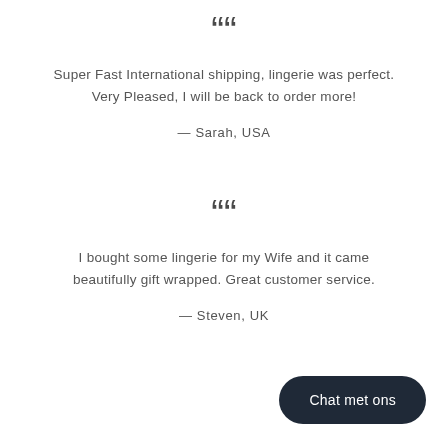““
Super Fast International shipping, lingerie was perfect. Very Pleased, I will be back to order more!
— Sarah, USA
““
I bought some lingerie for my Wife and it came beautifully gift wrapped. Great customer service.
— Steven, UK
Chat met ons